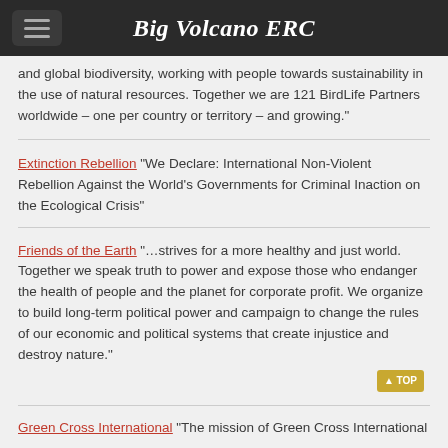Big Volcano ERC
and global biodiversity, working with people towards sustainability in the use of natural resources. Together we are 121 BirdLife Partners worldwide – one per country or territory – and growing."
Extinction Rebellion "We Declare: International Non-Violent Rebellion Against the World's Governments for Criminal Inaction on the Ecological Crisis"
Friends of the Earth "…strives for a more healthy and just world. Together we speak truth to power and expose those who endanger the health of people and the planet for corporate profit. We organize to build long-term political power and campaign to change the rules of our economic and political systems that create injustice and destroy nature."
Green Cross International "The mission of Green Cross International